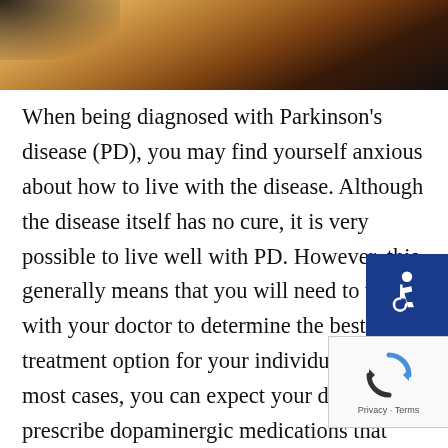[Figure (photo): Close-up photo of wooden surface or instrument, warm tan and brown tones with dark shadow in top-left corner]
When being diagnosed with Parkinson’s disease (PD), you may find yourself anxious about how to live with the disease. Although the disease itself has no cure, it is very possible to live well with PD. However, this generally means that you will need to work with your doctor to determine the best treatment option for your individual case. In most cases, you can expect your doctor to prescribe dopaminergic medications that increase dopamine levels in the brain to reduce symptoms such as tremor, bradykinesia, limb rigidity, and balance problems. In some cases, surgery